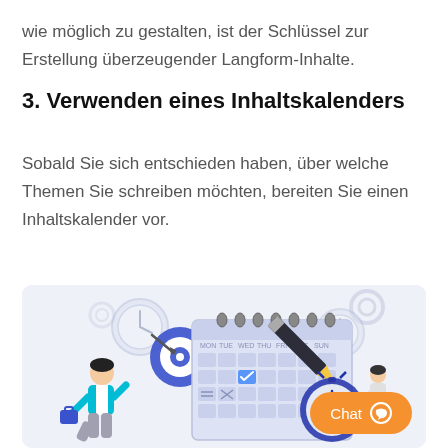wie möglich zu gestalten, ist der Schlüssel zur Erstellung überzeugender Langform-Inhalte.
3. Verwenden eines Inhaltskalenders
Sobald Sie sich entschieden haben, über welche Themen Sie schreiben möchten, bereiten Sie einen Inhaltskalender vor.
[Figure (illustration): Illustration of a content calendar with a large calendar, a pencil writing on it, a target/bullseye, clocks, gear icons, and two people (a man in a blue jacket carrying a briefcase and a woman reviewing documents). A chat button with speech bubble icon is overlaid in the bottom right.]